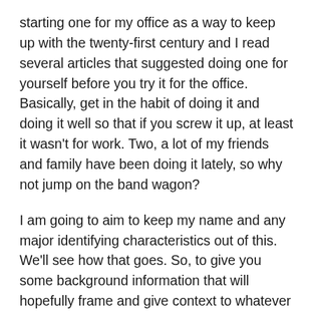starting one for my office as a way to keep up with the twenty-first century and I read several articles that suggested doing one for yourself before you try it for the office. Basically, get in the habit of doing it and doing it well so that if you screw it up, at least it wasn't for work. Two, a lot of my friends and family have been doing it lately, so why not jump on the band wagon?
I am going to aim to keep my name and any major identifying characteristics out of this. We'll see how that goes. So, to give you some background information that will hopefully frame and give context to whatever wonderful insight and entertaining tales I will share with you. I live in the South…. The Deep South, as in the land of sweet tea, Spanish moss, great accents and where football is only second to God. Okay, maybe God and